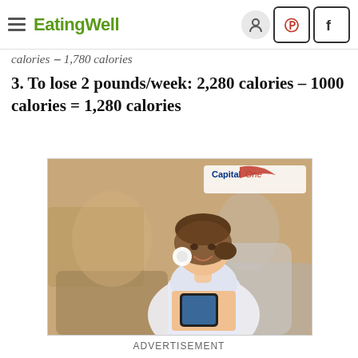EatingWell
calories – 1,780 calories
3. To lose 2 pounds/week: 2,280 calories – 1000 calories = 1,280 calories
[Figure (photo): Woman smiling and looking at her smartphone, seated in a lounge area. Capital One advertisement banner.]
ADVERTISEMENT